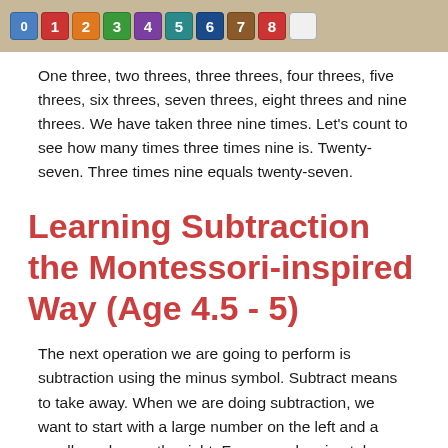[Figure (photo): Photo of colorful number tiles on a sandy/wooden surface showing numbers 0-8]
One three, two threes, three threes, four threes, five threes, six threes, seven threes, eight threes and nine threes. We have taken three nine times. Let's count to see how many times three times nine is. Twenty-seven. Three times nine equals twenty-seven.
Learning Subtraction the Montessori-inspired Way (Age 4.5 - 5)
The next operation we are going to perform is subtraction using the minus symbol. Subtract means to take away. When we are doing subtraction, we want to start with a large number on the left and a small number on the right. For example, nine take away zero. Let's count out nine sticks. If we have nine sticks and we take away zero, how many sticks will we have? We have nine. Nine take away